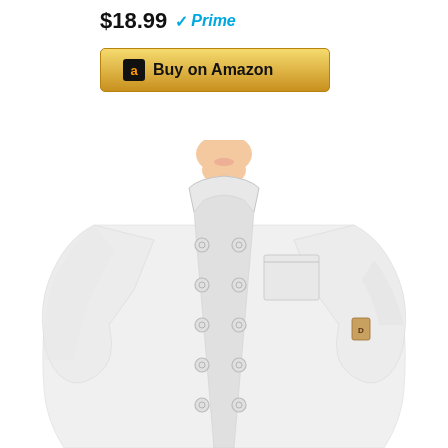$18.99 Prime
[Figure (other): Buy on Amazon button with Amazon logo]
[Figure (photo): Person wearing a white double-breasted chef coat with multiple buttons, mandarin collar, chest pocket, and a logo patch on the sleeve]